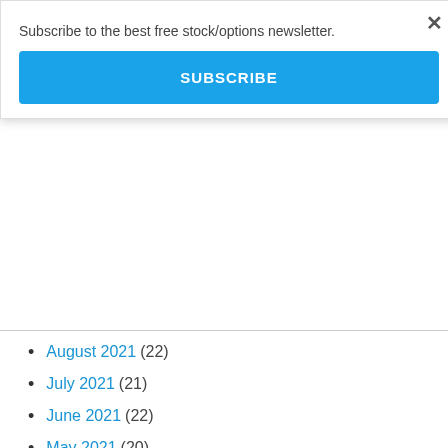Subscribe to the best free stock/options newsletter.
SUBSCRIBE
August 2021 (22)
July 2021 (21)
June 2021 (22)
May 2021 (20)
April 2021 (21)
March 2021 (23)
February 2021 (19)
January 2021 (19)
December 2020 (22)
November 2020 (20)
October 2020 (23)